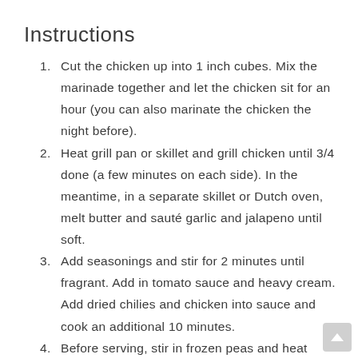Instructions
Cut the chicken up into 1 inch cubes. Mix the marinade together and let the chicken sit for an hour (you can also marinate the chicken the night before).
Heat grill pan or skillet and grill chicken until 3/4 done (a few minutes on each side). In the meantime, in a separate skillet or Dutch oven, melt butter and sauté garlic and jalapeno until soft.
Add seasonings and stir for 2 minutes until fragrant. Add in tomato sauce and heavy cream. Add dried chilies and chicken into sauce and cook an additional 10 minutes.
Before serving, stir in frozen peas and heat